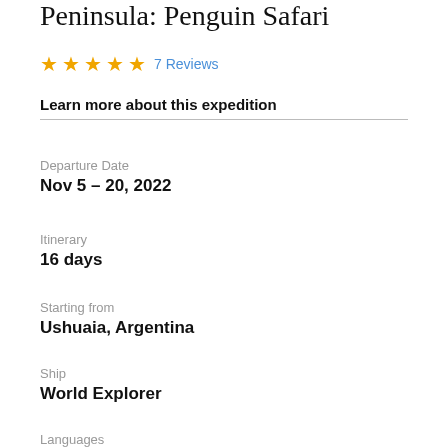Peninsula: Penguin Safari
★★★★★ 7 Reviews
Learn more about this expedition
Departure Date
Nov 5 – 20, 2022
Itinerary
16 days
Starting from
Ushuaia, Argentina
Ship
World Explorer
Languages
English